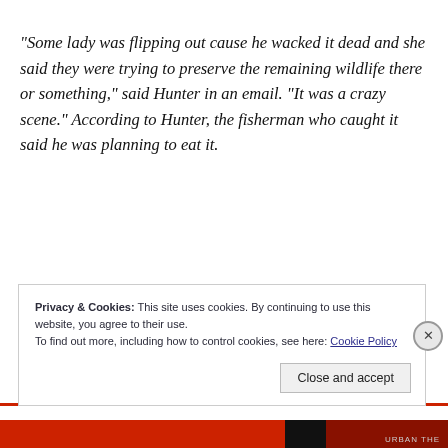“Some lady was flipping out cause he wacked it dead and she said they were trying to preserve the remaining wildlife there or something,” said Hunter in an email. “It was a crazy scene.” According to Hunter, the fisherman who caught it said he was planning to eat it.
Ahhh, New York City. The city so nice they have fish
Privacy & Cookies: This site uses cookies. By continuing to use this website, you agree to their use.
To find out more, including how to control cookies, see here: Cookie Policy